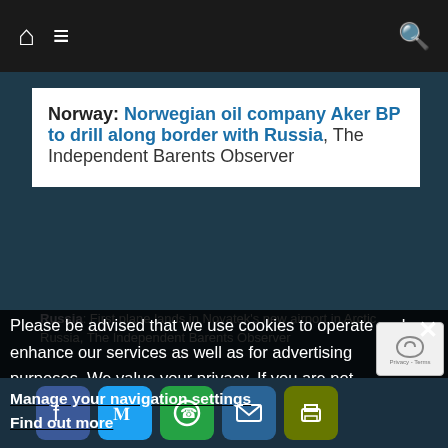Navigation bar with home, menu, and search icons
Norway: Norwegian oil company Aker BP to drill along border with Russia, The Independent Barents Observer
Russia: First plane lands in Novatek's new airport in Arctic Russia, The Independent Barents Observer
Please be advised that we use cookies to operate and enhance our services as well as for advertising purposes. We value your privacy. If you are not comfortable with us using this information, please review your settings before continuing your visit.
Manage your navigation settings
United States: Trump accuses Murkowski of killing ANWR, 'I will be there to campaign against her!' he vows, Alaska Public Media
Find out more